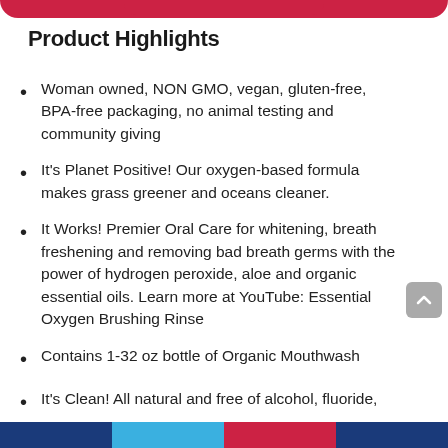Product Highlights
Woman owned, NON GMO, vegan, gluten-free, BPA-free packaging, no animal testing and community giving
It's Planet Positive! Our oxygen-based formula makes grass greener and oceans cleaner.
It Works! Premier Oral Care for whitening, breath freshening and removing bad breath germs with the power of hydrogen peroxide, aloe and organic essential oils. Learn more at YouTube: Essential Oxygen Brushing Rinse
Contains 1-32 oz bottle of Organic Mouthwash
It's Clean! All natural and free of alcohol, fluoride,